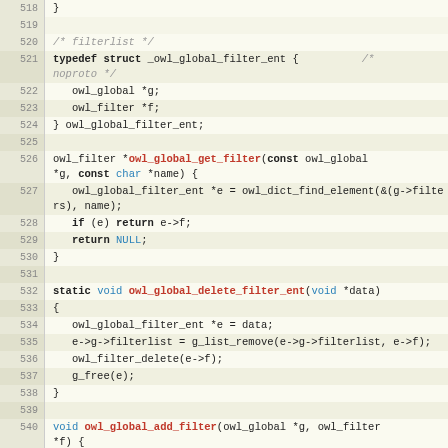[Figure (screenshot): Source code listing in C, lines 518-545, showing typedef struct and filter-related functions for owl_global filter management.]